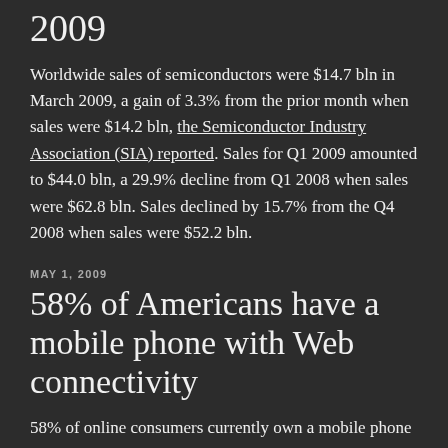2009
Worldwide sales of semiconductors were $14.7 bln in March 2009, a gain of 3.3% from the prior month when sales were $14.2 bln, the Semiconductor Industry Association (SIA) reported. Sales for Q1 2009 amounted to $44.0 bln, a 29.9% decline from Q1 2008 when sales were $62.8 bln. Sales declined by 15.7% from the Q4 2008 when sales were $52.2 bln.
MAY 1, 2009
58% of Americans have a mobile phone with Web connectivity
58% of online consumers currently own a mobile phone capable of connecting to the Web. Of the online consumers with Web-enabled phones, 21% own a